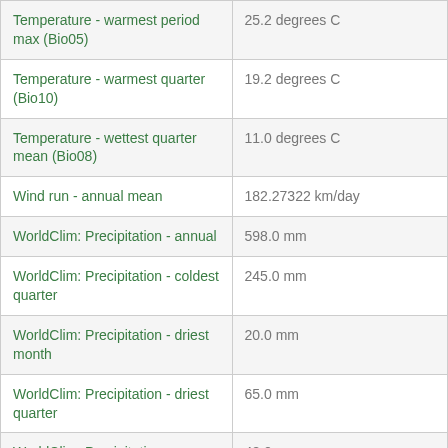| Parameter | Value |
| --- | --- |
| Temperature - warmest period max (Bio05) | 25.2 degrees C |
| Temperature - warmest quarter (Bio10) | 19.2 degrees C |
| Temperature - wettest quarter mean (Bio08) | 11.0 degrees C |
| Wind run - annual mean | 182.27322 km/day |
| WorldClim: Precipitation - annual | 598.0 mm |
| WorldClim: Precipitation - coldest quarter | 245.0 mm |
| WorldClim: Precipitation - driest month | 20.0 mm |
| WorldClim: Precipitation - driest quarter | 65.0 mm |
| WorldClim: Precipitation - seasonality | 48.0 |